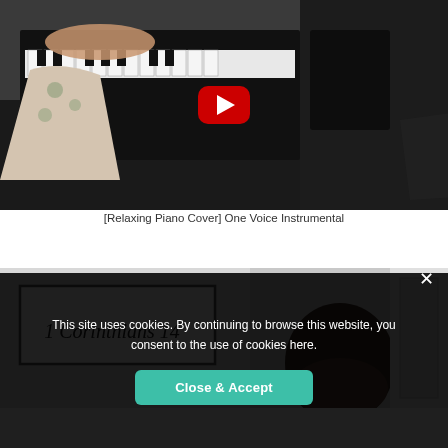[Figure (screenshot): YouTube video thumbnail showing a person in a floral dress playing a black piano/keyboard, with a red YouTube play button overlay in the center]
[Relaxing Piano Cover] One Voice Instrumental
[Figure (screenshot): YouTube video thumbnail showing a sign reading '1 Corinthians 14' in cursive script with a person visible in the background]
This site uses cookies. By continuing to browse this website, you consent to the use of cookies here.
Close & Accept